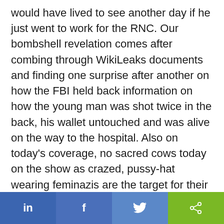would have lived to see another day if he just went to work for the RNC. Our bombshell revelation comes after combing through WikiLeaks documents and finding one surprise after another on how the FBI held back information on how the young man was shot twice in the back, his wallet untouched and was alive on the way to the hospital. Also on today's coverage, no sacred cows today on the show as crazed, pussy-hat wearing feminazis are the target for their constant bizarre behavior. Viewers of today's show are strongly encouraged to dig up the WikiLeaks documents on the Seth Rich murder and see what the FBI has been holding back on. Then, expect a knock at the door
in  f  [twitter]  [share]